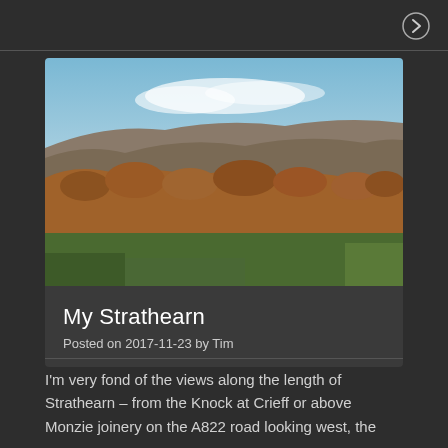[Figure (photo): Aerial/elevated landscape view of Strathearn valley, Scotland, showing autumn-coloured forests and hills under a blue sky with clouds]
My Strathearn
Posted on 2017-11-23 by Tim
I'm very fond of the views along the length of Strathearn – from the Knock at Crieff or above Monzie joinery on the A822 road looking west, the